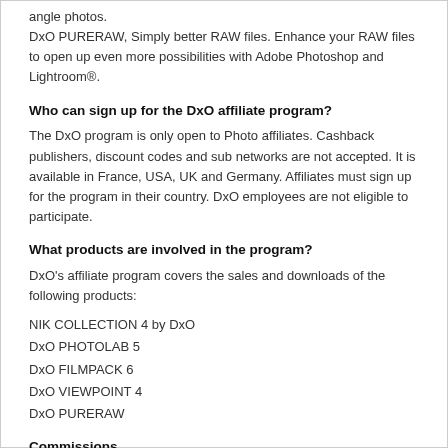angle photos.
DxO PURERAW, Simply better RAW files. Enhance your RAW files to open up even more possibilities with Adobe Photoshop and Lightroom®.
Who can sign up for the DxO affiliate program?
The DxO program is only open to Photo affiliates. Cashback publishers, discount codes and sub networks are not accepted. It is available in France, USA, UK and Germany. Affiliates must sign up for the program in their country. DxO employees are not eligible to participate.
What products are involved in the program?
DxO's affiliate program covers the sales and downloads of the following products:
NIK COLLECTION 4 by DxO
DxO PHOTOLAB 5
DxO FILMPACK 6
DxO VIEWPOINT 4
DxO PURERAW
Commissions
25% commission for each sale.
$0.26 for each download of the trial version.